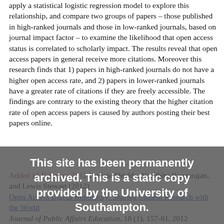apply a statistical logistic regression model to explore this relationship, and compare two groups of papers – those published in high-ranked journals and those in low-ranked journals, based on journal impact factor – to examine the likelihood that open access status is correlated to scholarly impact. The results reveal that open access papers in general receive more citations. Moreover this research finds that 1) papers in high-ranked journals do not have a higher open access rate, and 2) papers in lower-ranked journals have a greater rate of citations if they are freely accessible. The findings are contrary to the existing theory that the higher citation rate of open access papers is caused by authors posting their best papers online.
Added 12 February 2012  Patricia Shields, Nandhini Rangarajan, and Lewis Stewart (2012)
Open Access Digital Repository: Sharing Student Research with the World
Journal of Public Affairs Education, 18 (1), 157-81, 2012
Note, this link will download the pdf of the full Winter 2012 journal issue – go to page 157. From the Abstract: We study the impact of content factors and search engine optimization factors on download rates of capstone papers. We examined all 290 MPA capstone papers at Texas State University which have been made available through an online digital repository for public consumption. Results show strong support for the impact of search
This site has been permanently archived. This is a static copy provided by the University of Southampton.